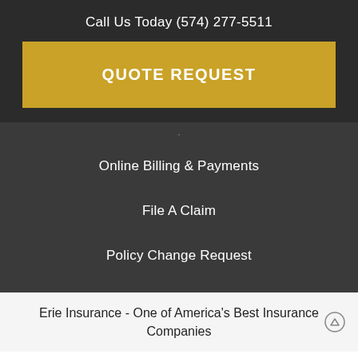Call Us Today (574) 277-5511
QUOTE REQUEST
Online Billing & Payments
File A Claim
Policy Change Request
Erie Insurance - One of America's Best Insurance Companies